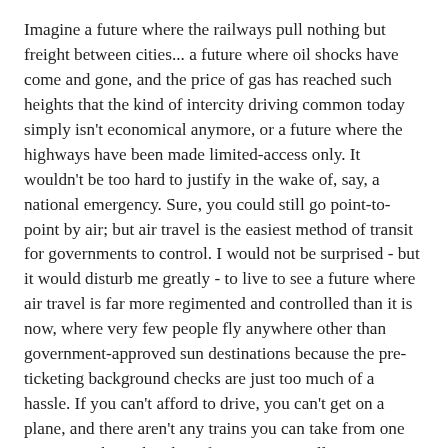Imagine a future where the railways pull nothing but freight between cities... a future where oil shocks have come and gone, and the price of gas has reached such heights that the kind of intercity driving common today simply isn't economical anymore, or a future where the highways have been made limited-access only. It wouldn't be too hard to justify in the wake of, say, a national emergency. Sure, you could still go point-to-point by air; but air travel is the easiest method of transit for governments to control. I would not be surprised - but it would disturb me greatly - to live to see a future where air travel is far more regimented and controlled than it is now, where very few people fly anywhere other than government-approved sun destinations because the pre-ticketing background checks are just too much of a hassle. If you can't afford to drive, you can't get on a plane, and there aren't any trains you can take from one city to another - then how free are you, really?
There always need to be options in how people can get from point A to point B. In business, that competition is necessary to prevent consumer gouging. In government, it's just as necessary - to head off one potential mode of oppression and control.